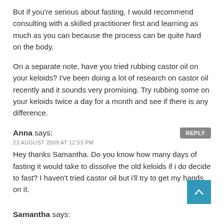But if you're serious about fasting, I would recommend consulting with a skilled practitioner first and learning as much as you can because the process can be quite hard on the body.
On a separate note, have you tried rubbing castor oil on your keloids? I've been doing a lot of research on castor oil recently and it sounds very promising. Try rubbing some on your keloids twice a day for a month and see if there is any difference.
Anna says:
23 AUGUST 2009 AT 12:53 PM
Hey thanks Samantha. Do you know how many days of fasting it would take to dissolve the old keloids if i do decide to fast? I haven't tried castor oil but i'll try to get my hands on it.
Samantha says: